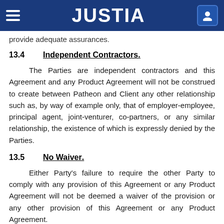JUSTIA
provide adequate assurances.
13.4    Independent Contractors.
The Parties are independent contractors and this Agreement and any Product Agreement will not be construed to create between Patheon and Client any other relationship such as, by way of example only, that of employer-employee, principal agent, joint-venturer, co-partners, or any similar relationship, the existence of which is expressly denied by the Parties.
13.5    No Waiver.
Either Party's failure to require the other Party to comply with any provision of this Agreement or any Product Agreement will not be deemed a waiver of the provision or any other provision of this Agreement or any Product Agreement.